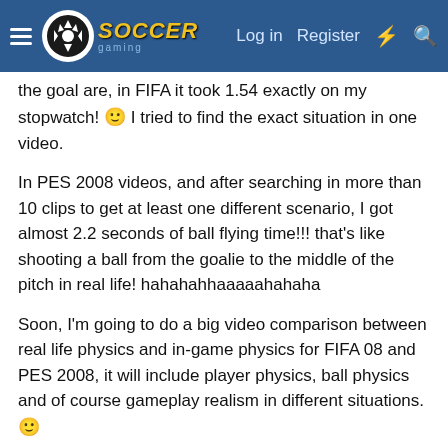Soccer Gaming — Log in | Register
the goal are, in FIFA it took 1.54 exactly on my stopwatch! 🙂 I tried to find the exact situation in one video.
In PES 2008 videos, and after searching in more than 10 clips to get at least one different scenario, I got almost 2.2 seconds of ball flying time!!! that's like shooting a ball from the goalie to the middle of the pitch in real life! hahahahhaaaaahahaha
Soon, I'm going to do a big video comparison between real life physics and in-game physics for FIFA 08 and PES 2008, it will include player physics, ball physics and of course gameplay realism in different situations. 🙂
I did many already but didn't record any of the information. that's what made me like FIFA 07 on next-gen; it is unbelievably real to the point that if you are used to PES or old FIFA titles game engines you might feel lost in FIFA 07 next-gen!
Most of us take old titles as an idol to base our opinions on for